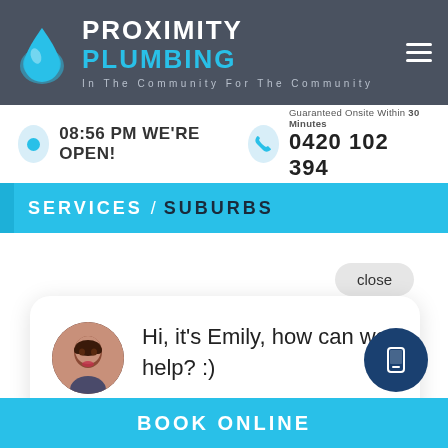PROXIMITY PLUMBING — In The Community For The Community
08:56 PM WE'RE OPEN!
Guaranteed Onsite Within 30 Minutes
0420 102 394
SERVICES / SUBURBS
close
Hi, it's Emily, how can we help? :)
BOOK ONLINE